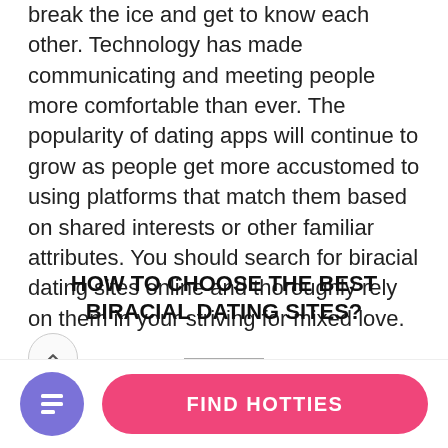break the ice and get to know each other. Technology has made communicating and meeting people more comfortable than ever. The popularity of dating apps will continue to grow as people get more accustomed to using platforms that match them based on shared interests or other familiar attributes. You should search for biracial dating sites online and thoroughly rely on them in your striving for mixed love.
HOW TO CHOOSE THE BEST BIRACIAL DATING SITES?
Pay attention to the services and level of security biracial dating sites provide. Serious agencies scrupulously check the profiles of their members. You